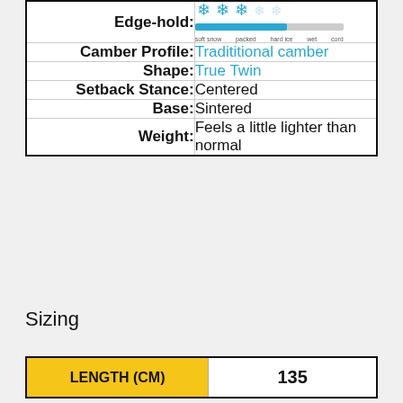| Attribute | Value |
| --- | --- |
| Edge-hold: | [graphic scale] |
| Camber Profile: | Tradititional camber |
| Shape: | True Twin |
| Setback Stance: | Centered |
| Base: | Sintered |
| Weight: | Feels a little lighter than normal |
Sizing
| LENGTH (CM) | 135 |
| --- | --- |